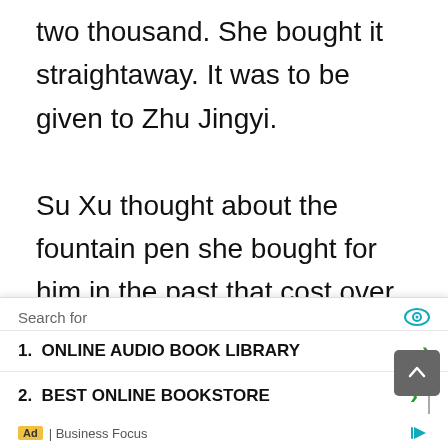two thousand. She bought it straightaway. It was to be given to Zhu Jingyi.

Su Xu thought about the fountain pen she bought for him in the past that cost over ten thousand. At that time, he'd even reproached her for wasting money. He felt really stupid thinking about it now. The clothes she casually bought for her friend already cost a few thousand; why would she care about that ten thous…

There…
[Figure (screenshot): Advertisement overlay showing a search dropdown with two results: 1. ONLINE AUDIO BOOK LIBRARY and 2. BEST ONLINE BOOKSTORE, with a Business Focus attribution and eye icon, green chevron arrows, and a scroll-to-top button.]